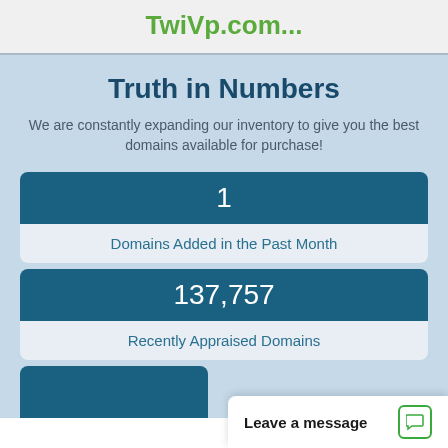TwiVp.com...
Truth in Numbers
We are constantly expanding our inventory to give you the best domains available for purchase!
1
Domains Added in the Past Month
137,757
Recently Appraised Domains
Leave a message